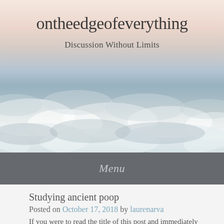[Figure (photo): Aerial view of clouds from above, with a soft peach-pink sky at the top transitioning to a layer of white and grey clouds below. The image serves as the website header background.]
ontheedgeofeverything
Discussion Without Limits
Menu
Studying ancient poop
Posted on October 17, 2018 by laurenarva
If you were to read the title of this post and immediately